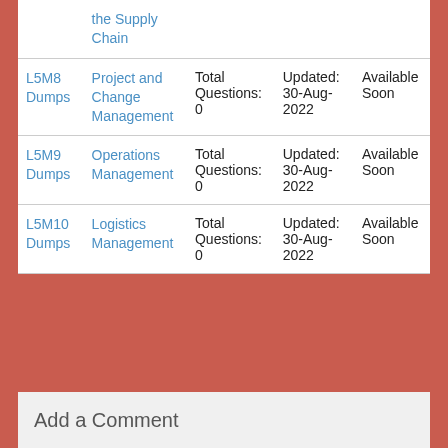|  |  |  |  |  |
| --- | --- | --- | --- | --- |
| L5M8 Dumps | Project and Change Management | Total Questions: 0 | Updated: 30-Aug-2022 | Available Soon |
| L5M9 Dumps | Operations Management | Total Questions: 0 | Updated: 30-Aug-2022 | Available Soon |
| L5M10 Dumps | Logistics Management | Total Questions: 0 | Updated: 30-Aug-2022 | Available Soon |
Add a Comment